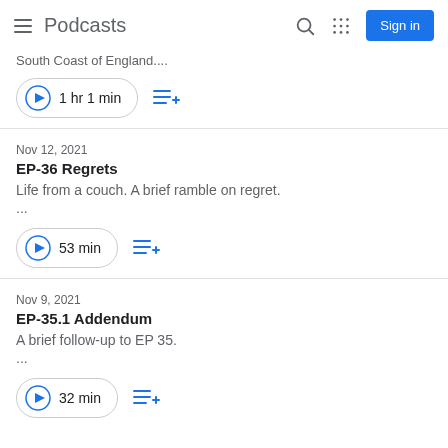Podcasts
South Coast of England....
1 hr 1 min
Nov 12, 2021
EP-36 Regrets
Life from a couch. A brief ramble on regret.
...
53 min
Nov 9, 2021
EP-35.1 Addendum
A brief follow-up to EP 35.
...
32 min